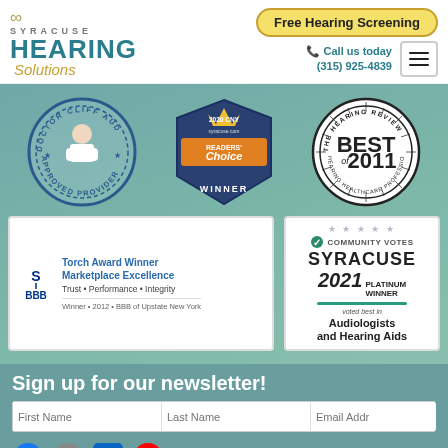[Figure (logo): Syracuse Hearing Solutions logo with infinity symbol]
Free Hearing Screening
Call us today (315) 925-4839
[Figure (illustration): Doctor Cliff AUD Approved Provider circular badge]
[Figure (illustration): 2020 CNY Readers' Choice Winner badge]
[Figure (illustration): The Hearing Review Best of 2011 stamp]
[Figure (illustration): BBB Torch Award Winner Marketplace Excellence badge]
[Figure (illustration): Community Votes Syracuse 2021 Platinum Winner - Audiologists and Hearing Aids]
Sign up for our newsletter!
First Name | Last Name | Email Addr | Subscribe
[Figure (illustration): Social media icons: Facebook, Twitter/X, LinkedIn, YouTube]